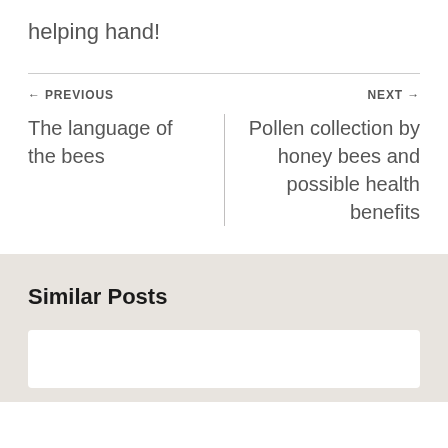helping hand!
← PREVIOUS
NEXT →
The language of the bees
Pollen collection by honey bees and possible health benefits
Similar Posts